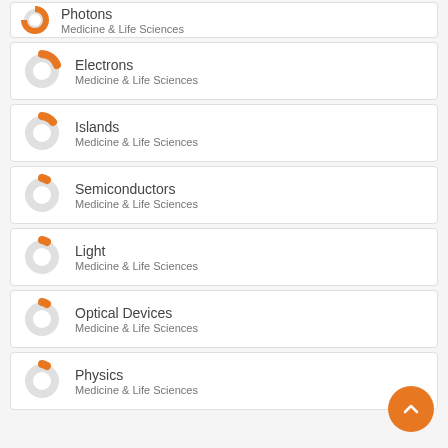Photons
Medicine & Life Sciences
Electrons
Medicine & Life Sciences
Islands
Medicine & Life Sciences
Semiconductors
Medicine & Life Sciences
Light
Medicine & Life Sciences
Optical Devices
Medicine & Life Sciences
Physics
Medicine & Life Sciences